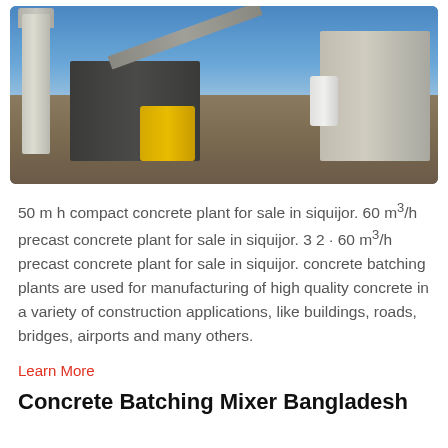[Figure (photo): Outdoor concrete batching plant with a tall silo tower on the left, conveyor belt, yellow mixing machine in the center, and large industrial structures on the right, under a clear blue sky.]
50 m h compact concrete plant for sale in siquijor. 60 m³/h precast concrete plant for sale in siquijor. 3 2 · 60 m³/h precast concrete plant for sale in siquijor. concrete batching plants are used for manufacturing of high quality concrete in a variety of construction applications, like buildings, roads, bridges, airports and many others.
Learn More
Concrete Batching Mixer Bangladesh